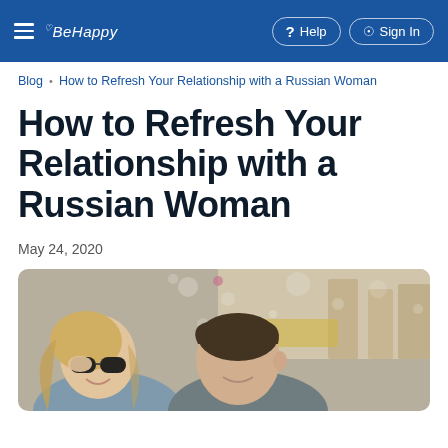BeHappy — Help | Sign In
Blog • How to Refresh Your Relationship with a Russian Woman
How to Refresh Your Relationship with a Russian Woman
May 24, 2020
[Figure (photo): A couple outdoors, smiling and laughing, woman wearing sunglasses, bokeh background with city street]